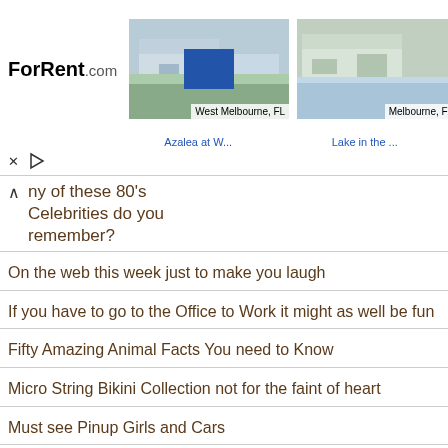[Figure (screenshot): ForRent.com advertisement banner showing two apartment property images with location tags 'West Melbourne, FL' and 'Melbourne, FL', links 'Azalea at W...' and 'Lake in the...', and ad controls (X and play button)]
ny of these 80's Celebrities do you remember?
On the web this week just to make you laugh
If you have to go to the Office to Work it might as well be fun
Fifty Amazing Animal Facts You need to Know
Micro String Bikini Collection not for the faint of heart
Must see Pinup Girls and Cars